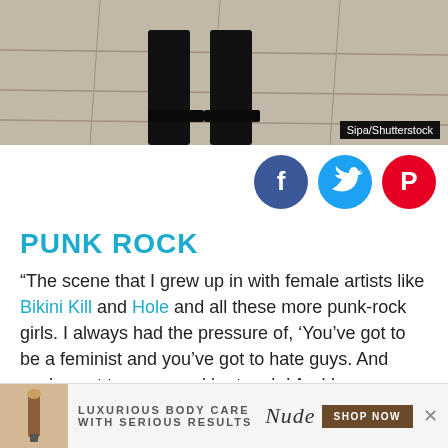[Figure (photo): Cropped photo showing the lower portion of a person's legs wearing black shoes, standing on a stone/tile floor. Photo credit: Sipa/Shutterstock.]
[Figure (infographic): Three social media share buttons: Facebook (dark blue circle with 'f'), Twitter (light blue circle with bird icon), Pinterest (red circle with 'P' icon).]
PUNK ROCK
“The scene that I grew up in with female artists like Bikini Kill and Hole and all these more punk-rock girls. I always had the pressure of, ‘You’ve got to be a feminist and you’ve got to hate guys. And you’ve got to curse and be tough.’ And I was never like that,” she told Vogue in 2004. “I grew up, like, a Catholic good girl. Total Brady Bunch family. That always kind of scared me, the pressure of having to be so cool or like, f**k you to the world. But I kind of got
[Figure (other): Advertisement banner: Nude brand luxurious body care with serious results. Shows a pen/brush product image and 'SHOP NOW' button.]